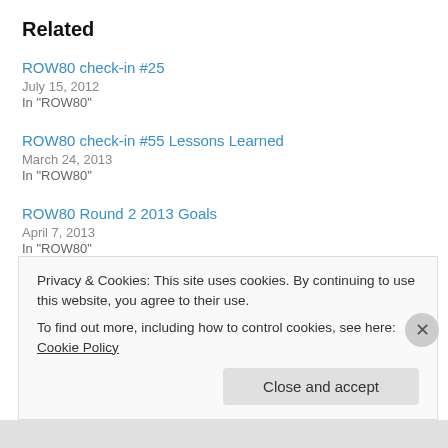Related
ROW80 check-in #25
July 15, 2012
In "ROW80"
ROW80 check-in #55 Lessons Learned
March 24, 2013
In "ROW80"
ROW80 Round 2 2013 Goals
April 7, 2013
In "ROW80"
Privacy & Cookies: This site uses cookies. By continuing to use this website, you agree to their use.
To find out more, including how to control cookies, see here: Cookie Policy